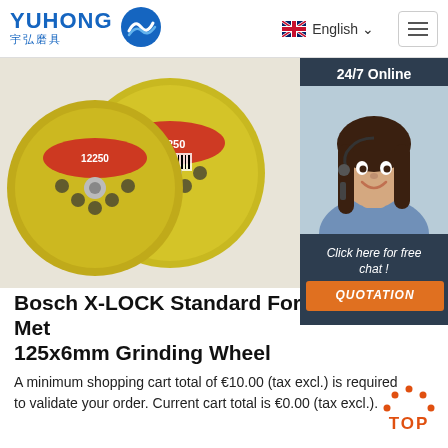YUHONG 宇弘磨具 | English
[Figure (photo): Two yellow grinding/cutting wheels with red labels showing '12250', stacked and photographed from above on a white background. Right side shows a customer service agent (woman with headset) with dark overlay panel showing '24/7 Online', 'Click here for free chat!', and 'QUOTATION' button.]
Bosch X-LOCK Standard For Metal 125x6mm Grinding Wheel
A minimum shopping cart total of €10.00 (tax excl.) is required to validate your order. Current cart total is €0.00 (tax excl.).
Get Price